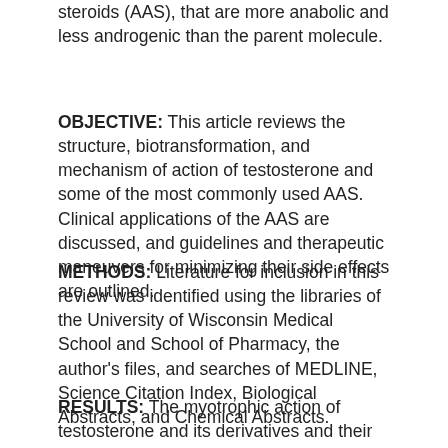steroids (AAS), that are more anabolic and less androgenic than the parent molecule.
OBJECTIVE: This article reviews the structure, biotransformation, and mechanism of action of testosterone and some of the most commonly used AAS. Clinical applications of the AAS are discussed, and guidelines and therapeutic maneuvers for minimizing their side effects are outlined.
METHODS: Literature for inclusion in this review was identified using the libraries of the University of Wisconsin Medical School and School of Pharmacy, the author's files, and searches of MEDLINE, Science Citation Index, Biological Abstracts, and Chemical Abstracts.
RESULTS: The myotrophic action of testosterone and its derivatives and their stimulatory effects on the brain have led to widespread use of AAS by athletes and